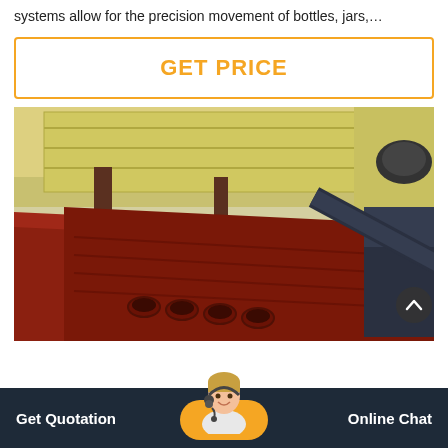systems allow for the precision movement of bottles, jars,…
GET PRICE
[Figure (photo): Industrial heavy machinery — large red-painted metal vibratory or conveyor equipment with cylindrical components, set outdoors next to yellow structures. A scroll/navigation button is visible at bottom right of the image.]
Get Quotation
Online Chat